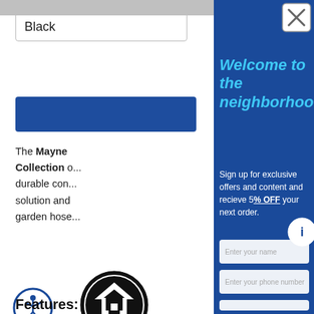Black
The Mayne Collection offers durable construction, a watertight solution and includes a pre-attached garden hose
[Figure (logo): Indoor & Outdoor circular badge logo with house icon]
Features:
Welcome to the neighborhood.
Sign up for exclusive offers and content and recieve 5% OFF your next order.
[Figure (other): Email signup form with fields for name, phone number, and additional field]
[Figure (other): Close button (X) in top right corner of modal]